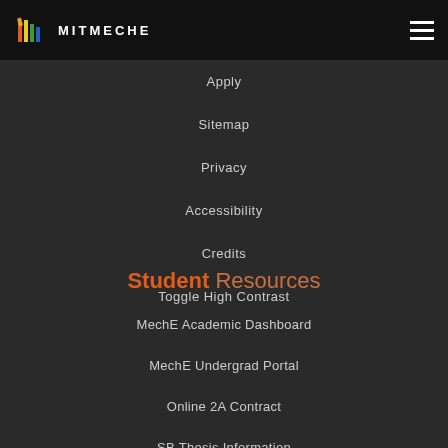MITMECHE
Apply
Sitemap
Privacy
Accessibility
Credits
Toggle High Contrast
Student Resources
MechE Academic Dashboard
MechE Undergrad Portal
Online 2A Contract
SB Thesis Information
Online Grad Card